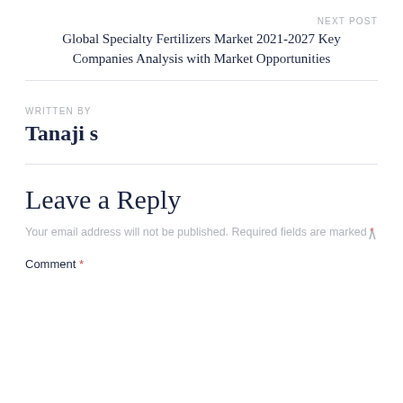NEXT POST
Global Specialty Fertilizers Market 2021-2027 Key Companies Analysis with Market Opportunities
WRITTEN BY
Tanaji s
Leave a Reply
Your email address will not be published. Required fields are marked *
Comment *